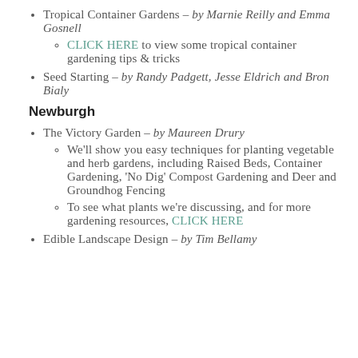Tropical Container Gardens – by Marnie Reilly and Emma Gosnell
CLICK HERE to view some tropical container gardening tips & tricks
Seed Starting – by Randy Padgett, Jesse Eldrich and Bron Bialy
Newburgh
The Victory Garden – by Maureen Drury
We'll show you easy techniques for planting vegetable and herb gardens, including Raised Beds, Container Gardening, 'No Dig' Compost Gardening and Deer and Groundhog Fencing
To see what plants we're discussing, and for more gardening resources, CLICK HERE
Edible Landscape Design – by Tim Bellamy